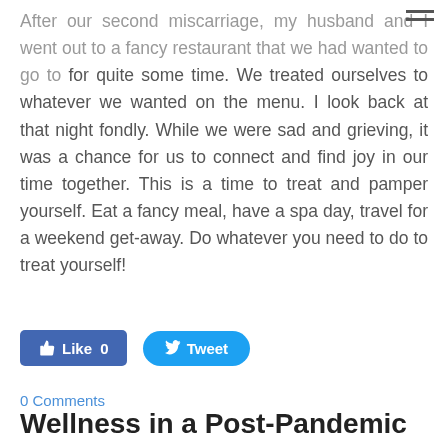After our second miscarriage, my husband and I went out to a fancy restaurant that we had wanted to go to for quite some time. We treated ourselves to whatever we wanted on the menu. I look back at that night fondly. While we were sad and grieving, it was a chance for us to connect and find joy in our time together. This is a time to treat and pamper yourself. Eat a fancy meal, have a spa day, travel for a weekend get-away. Do whatever you need to do to treat yourself!
[Figure (other): Facebook Like button (count: 0) and Twitter Tweet button]
0 Comments
Wellness in a Post-Pandemic